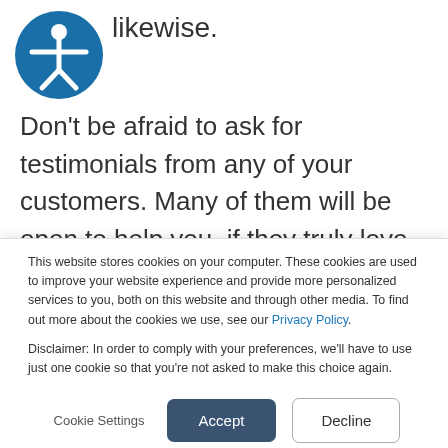likewise.
[Figure (illustration): Accessibility icon: a blue circle with a white stick figure with arms outstretched]
Don’t be afraid to ask for testimonials from any of your customers. Many of them will be open to help you, if they truly love your product.
If not, they won’t even bother with getting
This website stores cookies on your computer. These cookies are used to improve your website experience and provide more personalized services to you, both on this website and through other media. To find out more about the cookies we use, see our Privacy Policy.

Disclaimer: In order to comply with your preferences, we’ll have to use just one cookie so that you’re not asked to make this choice again.
Cookie Settings
Accept
Decline